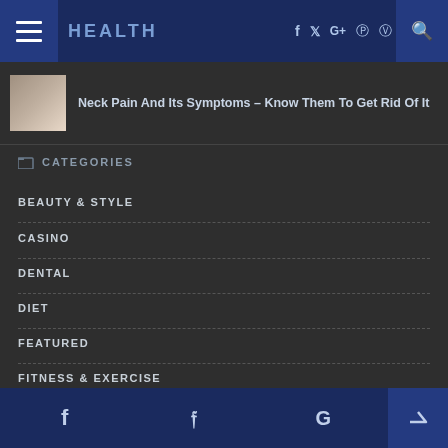HEALTH — navigation bar with social icons (f, Twitter, G+, Pinterest, Instagram, Search)
Neck Pain And Its Symptoms – Know Them To Get Rid Of It
CATEGORIES
BEAUTY & STYLE
CASINO
DENTAL
DIET
FEATURED
FITNESS & EXERCISE
f  Twitter  G  ↑